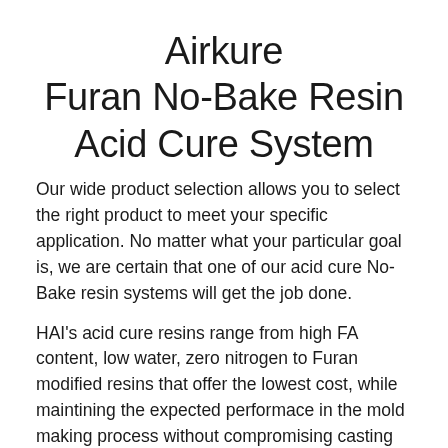Airkure Furan No-Bake Resin Acid Cure System
Our wide product selection allows you to select the right product to meet your specific application. No matter what your particular goal is, we are certain that one of our acid cure No-Bake resin systems will get the job done.
HAI's acid cure resins range from high FA content, low water, zero nitrogen to Furan modified resins that offer the lowest cost, while maintining the expected performace in the mold making process without compromising casting quality.
Aikure along with Enviroset, and Super Set resins provide a diverse selection of products for various